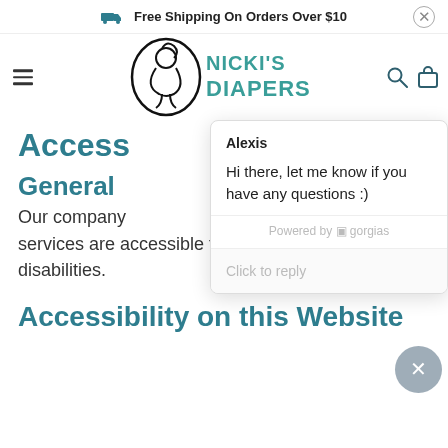Free Shipping On Orders Over $10
[Figure (logo): Nicki's Diapers logo with illustrated baby and teal text]
Access
General
Our company services are accessible to people with disabilities.
[Figure (screenshot): Chat popup from Alexis saying: Hi there, let me know if you have any questions :) Powered by gorgias. Click to reply.]
Accessibility on this Website